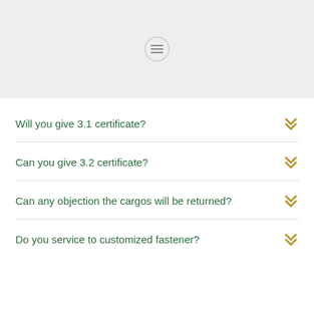[Figure (other): Gray header area with a circular menu icon (hamburger/lines icon) centered in it]
Will you give 3.1 certificate?
Can you give 3.2 certificate?
Can any objection the cargos will be returned?
Do you service to customized fastener?